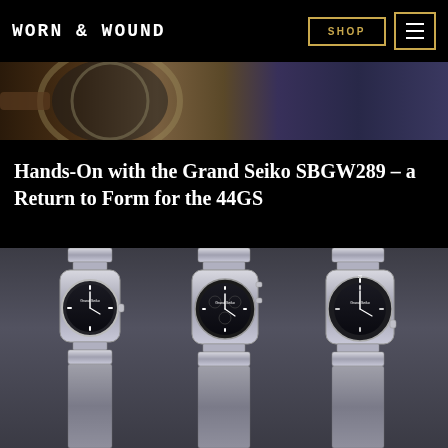WORN & WOUND | SHOP
[Figure (photo): Cropped top portion of a watch photograph, showing part of a watch face on a leather surface]
Hands-On with the Grand Seiko SBGW289 – a Return to Form for the 44GS
[Figure (photo): Three Grand Seiko sport watches displayed side by side on a gray background: a GMT watch, a chronograph, and a diver's watch, all with black dials and stainless steel bracelets]